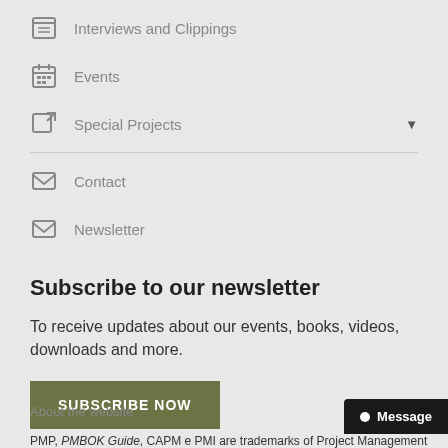Interviews and Clippings
Events
Special Projects
Contact
Newsletter
Subscribe to our newsletter
To receive updates about our events, books, videos, downloads and more.
SUBSCRIBE NOW
About the website
Message
PMP, PMBOK Guide, CAPM e PMI are trademarks of Project Management